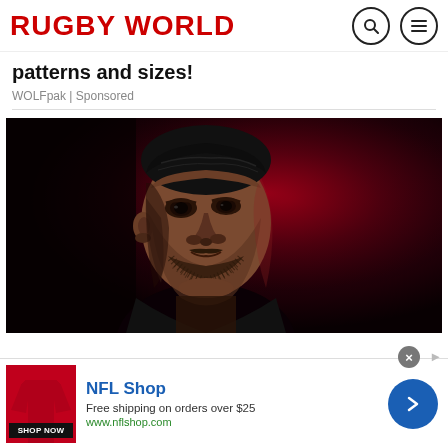RUGBY WORLD
patterns and sizes!
WOLFpak | Sponsored
[Figure (photo): Close-up portrait of a rugby player against a dark red background, dramatic lighting, man with short hair and beard looking to the side]
[Figure (infographic): NFL Shop advertisement banner: NFL Shop logo, red football shape, 'Free shipping on orders over $25', 'www.nflshop.com', SHOP NOW button, blue arrow circle button]